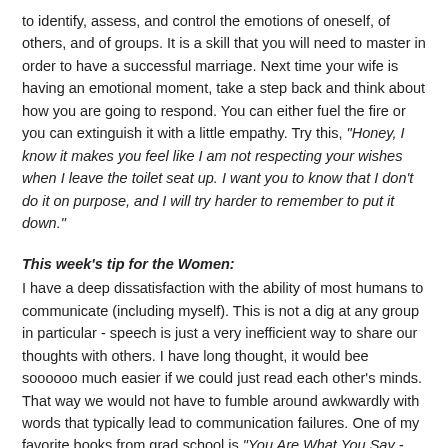to identify, assess, and control the emotions of oneself, of others, and of groups. It is a skill that you will need to master in order to have a successful marriage. Next time your wife is having an emotional moment, take a step back and think about how you are going to respond. You can either fuel the fire or you can extinguish it with a little empathy. Try this, "Honey, I know it makes you feel like I am not respecting your wishes when I leave the toilet seat up. I want you to know that I don't do it on purpose, and I will try harder to remember to put it down."
This week's tip for the Women:
I have a deep dissatisfaction with the ability of most humans to communicate (including myself). This is not a dig at any group in particular - speech is just a very inefficient way to share our thoughts with others. I have long thought, it would bee soooooo much easier if we could just read each other's minds. That way we would not have to fumble around awkwardly with words that typically lead to communication failures. One of my favorite books from grad school is "You Are What You Say - The Proven Program That Uses the Power of Language to Combat Stress, Anger and Depression" by Matthew Budd, M.D. and Larry Rothstein, Ed. D. The book basically makes a link